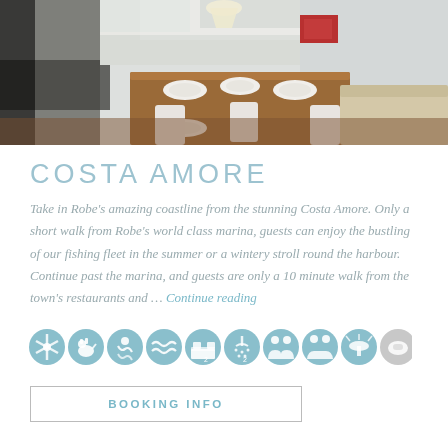[Figure (photo): Interior photo of Costa Amore property showing open-plan kitchen, dining and living area with wooden dining table set for four, white chairs, pendant light, and living room area visible in background]
COSTA AMORE
Take in Robe's amazing coastline from the stunning Costa Amore. Only a short walk from Robe's world class marina, guests can enjoy the bustling of our fishing fleet in the summer or a wintery stroll round the harbour. Continue past the marina, and guests are only a 10 minute walk from the town's restaurants and … Continue reading
[Figure (infographic): Row of 10 circular amenity icons in teal/blue-grey color: fan/AC, pet-friendly dog, swimming, waves/water, bed/sleeping, shower, group/people, couple/people, BBQ grill, and one grey circle icon]
BOOKING INFO